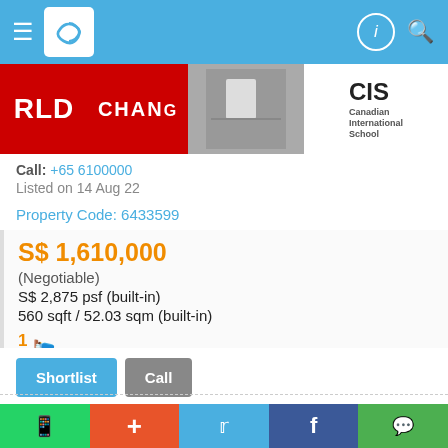[Figure (screenshot): Top navigation bar with hamburger menu, logo, info icon and search icon on blue background]
[Figure (photo): Banner advertisement for Canadian International School (CIS) showing 'CHANGE' text with red background and student image]
Call: +65 6100000
Listed on 14 Aug 22
Property Code: 6433599
S$ 1,610,000
(Negotiable)
S$ 2,875 psf (built-in)
560 sqft / 52.03 sqm (built-in)
1 bedroom
Shortlist | Call
[Figure (photo): Placeholder property image with house icon]
WhatsApp | + | Twitter | Facebook | WeChat